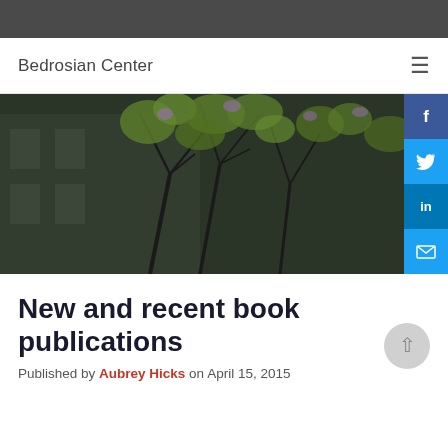Bedrosian Center
[Figure (photo): A dark-toned outdoor photo showing tree branches with green and purple foliage in front of a white building facade. Social sharing buttons (Facebook, Twitter, LinkedIn, Email) are overlaid on the right side.]
New and recent book publications
Published by Aubrey Hicks on April 15, 2015